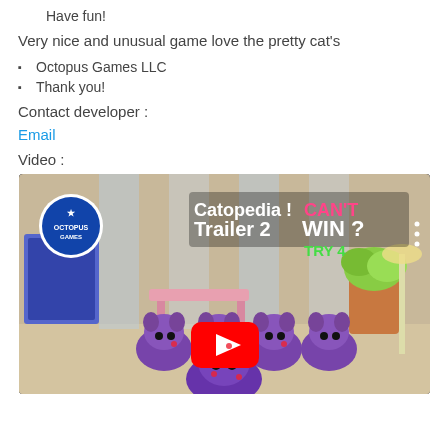Have fun!
Very nice and unusual game love the pretty cat's
Octopus Games LLC
Thank you!
Contact developer :
Email
Video :
[Figure (screenshot): YouTube video thumbnail for 'Catopedia ! Trailer 2' showing purple cartoon cats with a YouTube play button overlay and text 'CAN'T WIN ? TRY 4']